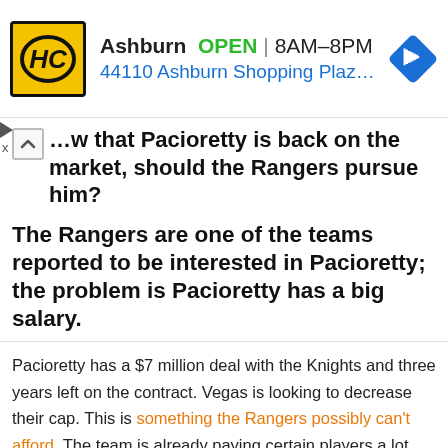[Figure (infographic): Advertisement banner for HC (Home Care or similar) showing logo, Ashburn location, OPEN 8AM-8PM, address 44110 Ashburn Shopping Plaza 1., and navigation/directions icon]
Now that Pacioretty is back on the market, should the Rangers pursue him?
The Rangers are one of the teams reported to be interested in Pacioretty; the problem is Pacioretty has a big salary.
Pacioretty has a $7 million deal with the Knights and three years left on the contract. Vegas is looking to decrease their cap. This is something the Rangers possibly can't afford. The team is already paying certain players a lot, adding Pacioretty could hurt the Rangers cap space. Another problem could be the fact that the Rangers have more than enough forwards/